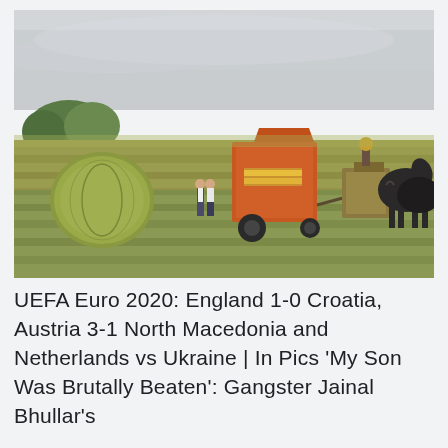[Figure (photo): A farming scene in a field. A large orange New Holland round hay baler sits in the center, with a round hay bale on the left. Two people in traditional clothing stand near the baler. On the right, a person rides a horse-drawn farm implement pulled by two dark draft horses. The sky is overcast. The field shows rows of cut hay.]
UEFA Euro 2020: England 1-0 Croatia, Austria 3-1 North Macedonia and Netherlands vs Ukraine | In Pics 'My Son Was Brutally Beaten': Gangster Jainal Bhullar's